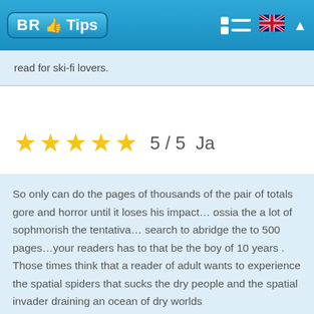BR Tips
read for ski-fi lovers.
5 / 5  Ja
So only can do the pages of thousands of the pair of totals gore and horror until it loses his impact… ossia the a lot of sophmorish the tentativa… search to abridge the to 500 pages…your readers has to that be the boy of 10 years . Those times think that a reader of adult wants to experience the spatial spiders that sucks the dry people and the spatial invader draining an ocean of dry worlds